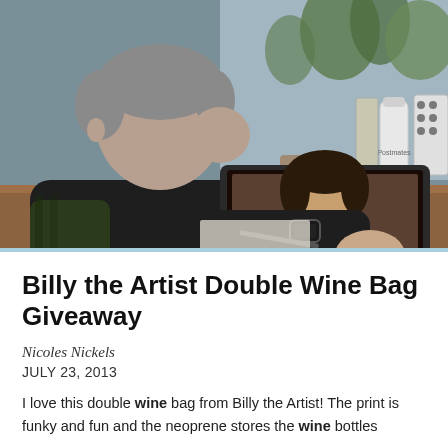[Figure (photo): A man with gray hair sitting at a wooden desk, viewed from the side/back, using a laptop which shows a video call with a smiling woman. A white water bottle, potted plants, and desk items are visible in the background near a window.]
Billy the Artist Double Wine Bag Giveaway
Nicoles Nickels
JULY 23, 2013
I love this double wine bag from Billy the Artist! The print is funky and fun and the neoprene stores the wine bottles